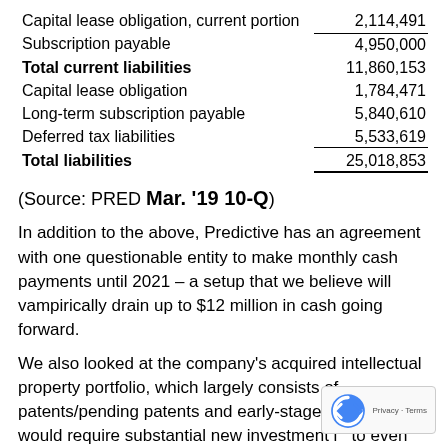|  |  |
| --- | --- |
| Capital lease obligation, current portion | 2,114,491 |
| Subscription payable | 4,950,000 |
| Total current liabilities | 11,860,153 |
| Capital lease obligation | 1,784,471 |
| Long-term subscription payable | 5,840,610 |
| Deferred tax liabilities | 5,533,619 |
| Total liabilities | 25,018,853 |
(Source: PRED Mar. '19 10-Q)
In addition to the above, Predictive has an agreement with one questionable entity to make monthly cash payments until 2021 – a setup that we believe will vampirically drain up to $12 million in cash going forward.
We also looked at the company's acquired intellectual property portfolio, which largely consists of patents/pending patents and early-stage initiatives that would require substantial new investment in to even assess its viability. We harbor doubts about